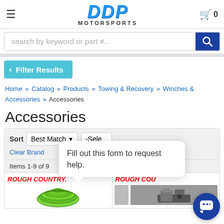DDP Motorsports header with logo, hamburger menu, and cart
search by keyword or part #...
Filter Results
Home » Catalog » Products » Towing & Recovery » Winches & Accessories » Accessories
Accessories
Sort Best Match -Select Clear Brand
Fill out this form to request help.
Items 1-9 of 9
[Figure (screenshot): Two product cards showing Rough Country branded winch accessories — a green synthetic rope coil and a winch/accessory kit]